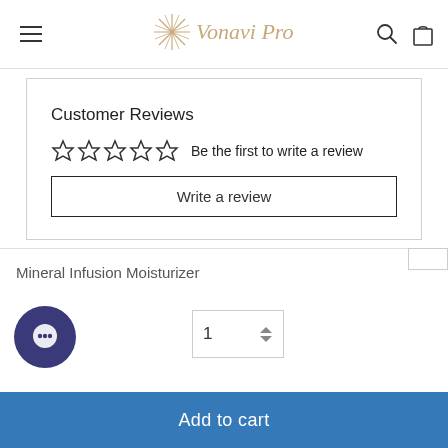Vonavi Pro
Customer Reviews
☆☆☆☆☆  Be the first to write a review
Write a review
Mineral Infusion Moisturizer
1
Add to cart